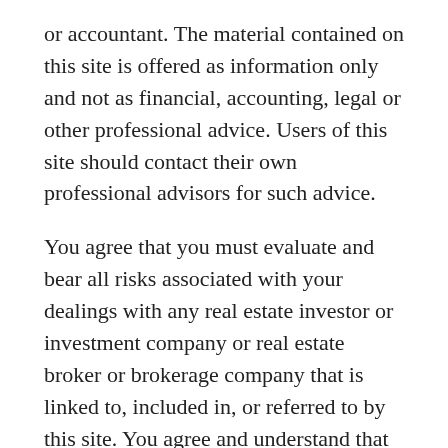or accountant. The material contained on this site is offered as information only and not as financial, accounting, legal or other professional advice. Users of this site should contact their own professional advisors for such advice.
You agree that you must evaluate and bear all risks associated with your dealings with any real estate investor or investment company or real estate broker or brokerage company that is linked to, included in, or referred to by this site. You agree and understand that your choice to deal with any member or affiliate of this site is done at your discretion and risk, and you will be solely responsible for such dealings. In no event shall www.thedavenportgroupre.com be liable for any